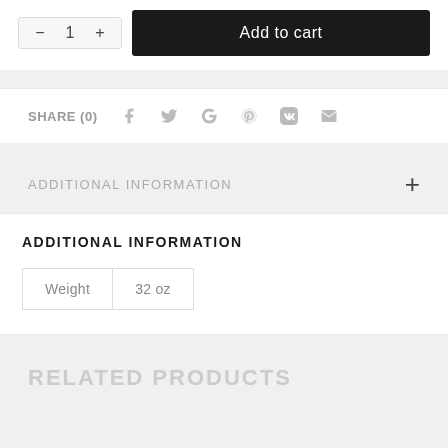- 1 + | Add to cart
SHARE (0)
ADDITIONAL INFORMATION
ADDITIONAL INFORMATION
| Weight | 32 oz |
| --- | --- |
RELATED PRODUCTS